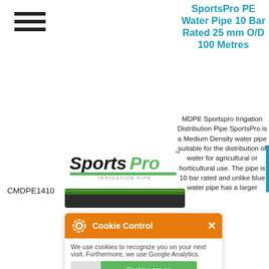[Figure (logo): Hamburger menu icon (three horizontal black bars)]
SportsPro PE Water Pipe 10 Bar Rated 25 mm O/D 100 Metres
[Figure (logo): SportsPro Irrigation Pipe brand logo with green underline]
CMDPE1410
[Figure (photo): Dark green/black MDPE pipe shown horizontally]
[Figure (screenshot): Cookie Control overlay popup with orange header, toggle, and about this tool link]
MDPE Sportspro Irrigation Distribution Pipe SportsPro is a Medium Density water pipe suitable for the distribution of water for agricultural or horticultural use. The pipe is 10 bar rated and unlike blue water pipe has a larger